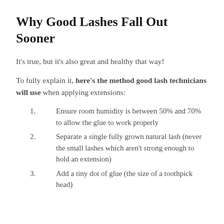Why Good Lashes Fall Out Sooner
It’s true, but it’s also great and healthy that way!
To fully explain it, here’s the method good lash technicians will use when applying extensions:
1. Ensure room humidity is between 50% and 70% to allow the glue to work properly
2. Separate a single fully grown natural lash (never the small lashes which aren’t strong enough to hold an extension)
3. Add a tiny dot of glue (the size of a toothpick head)